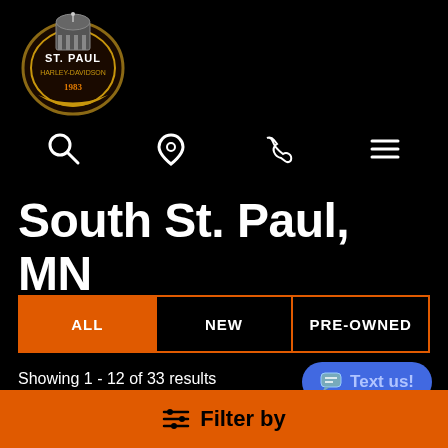[Figure (logo): St. Paul Harley-Davidson circular badge logo with building/capitol dome at top, gold and brown tones on black background]
[Figure (infographic): Navigation icon bar with search (magnifying glass), location pin, phone, and hamburger menu icons in white on black]
South St. Paul, MN
ALL | NEW | PRE-OWNED tab bar, with ALL selected (orange background)
Showing 1 - 12 of 33 results
Alphabetical (dropdown) | Ascending (dropdown)
Filter by
Text us!